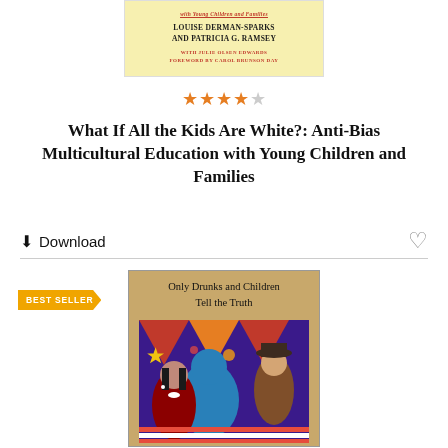[Figure (illustration): Top portion of book cover for 'What If All the Kids Are White?' with yellow background, showing authors Louise Derman-Sparks and Patricia G. Ramsey, with Julie Olsen Edwards and Foreword by Carol Brunson Day, partial red italic title at top]
[Figure (illustration): Star rating display showing 4 out of 5 stars in orange/gold color]
What If All the Kids Are White?: Anti-Bias Multicultural Education with Young Children and Families
Download
[Figure (illustration): Book cover for 'Only Drunks and Children Tell the Truth' with tan/brown background and colorful folk art painting featuring Indigenous figures, with a BEST SELLER banner]